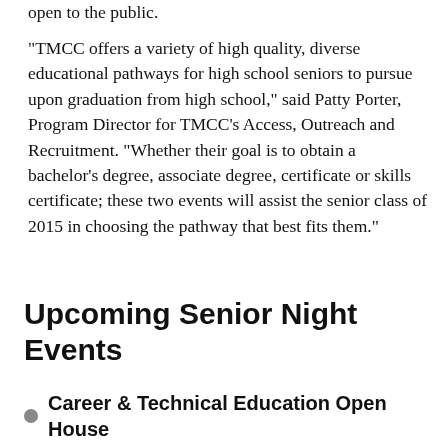open to the public.
"TMCC offers a variety of high quality, diverse educational pathways for high school seniors to pursue upon graduation from high school," said Patty Porter, Program Director for TMCC’s Access, Outreach and Recruitment. “Whether their goal is to obtain a bachelor's degree, associate degree, certificate or skills certificate; these two events will assist the senior class of 2015 in choosing the pathway that best fits them."
Upcoming Senior Night Events
Career & Technical Education Open House